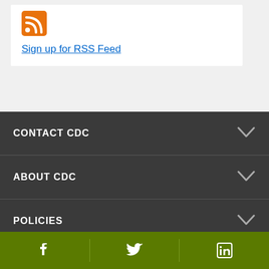Sign up for RSS Feed
CONTACT CDC
ABOUT CDC
POLICIES
[Figure (infographic): Social media icons bar with Facebook, Twitter, and LinkedIn icons on green background]